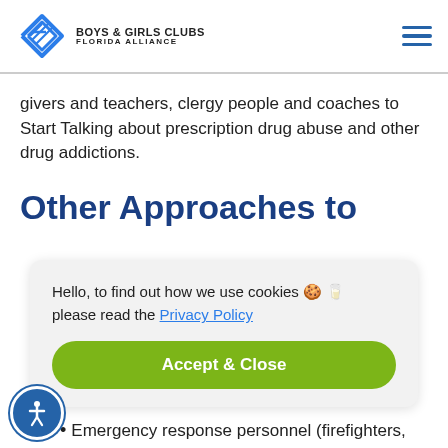Boys & Girls Clubs Florida Alliance
givers and teachers, clergy people and coaches to Start Talking about prescription drug abuse and other drug addictions.
Other Approaches to
Hello, to find out how we use cookies 🍪 🥛 please read the Privacy Policy
Accept & Close
Emergency response personnel (firefighters,